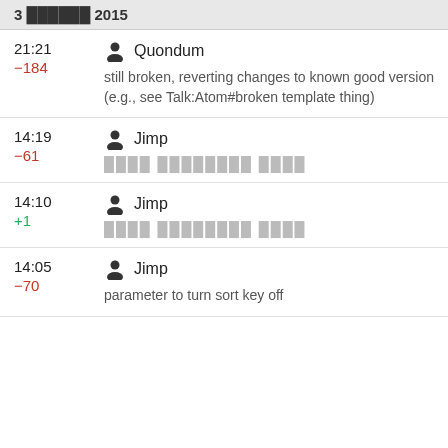3 ██████ 2015
21:21  Quondum  −184  still broken, reverting changes to known good version (e.g., see Talk:Atom#broken template thing)
14:19  Jimp  −61  ████ ████████ ████
14:10  Jimp  +1  ████ ████████ ████
14:05  Jimp  −70  parameter to turn sort key off